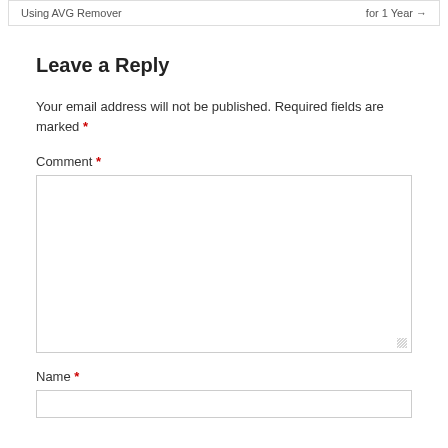Using AVG Remover   for 1 Year →
Leave a Reply
Your email address will not be published. Required fields are marked *
Comment *
Name *